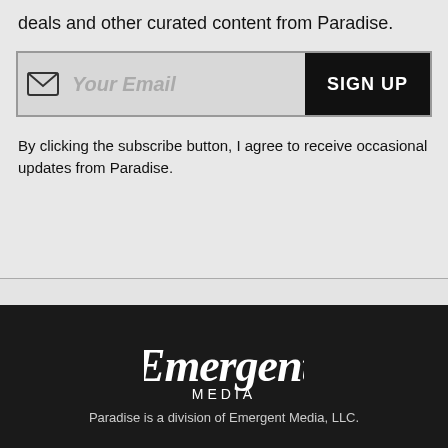deals and other curated content from Paradise.
[Figure (other): Email input field with envelope icon and placeholder 'Your Email', and a black 'SIGN UP' button]
By clicking the subscribe button, I agree to receive occasional updates from Paradise.
Terms & Privacy
[Figure (logo): Emergent Media logo in white script lettering on dark background]
Paradise is a division of Emergent Media, LLC.